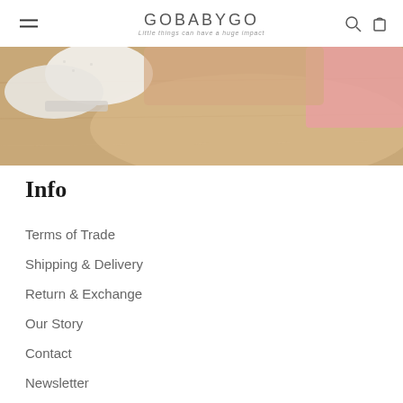GOBABYGO — Little things can have a huge impact
[Figure (photo): Close-up photo of a baby crawling on a wooden floor, wearing white knit socks with grip soles and a pink outfit, viewed from behind/side]
Info
Terms of Trade
Shipping & Delivery
Return & Exchange
Our Story
Contact
Newsletter
Store Locator
Privacy Policy